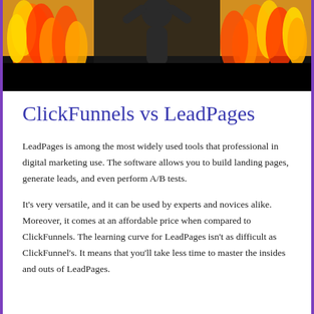[Figure (photo): Photo of a person in a black shirt with arms raised, surrounded by flame graphics against a black background]
ClickFunnels vs LeadPages
LeadPages is among the most widely used tools that professional in digital marketing use. The software allows you to build landing pages, generate leads, and even perform A/B tests.
It’s very versatile, and it can be used by experts and novices alike. Moreover, it comes at an affordable price when compared to ClickFunnels. The learning curve for LeadPages isn’t as difficult as ClickFunnel’s. It means that you’ll take less time to master the insides and outs of LeadPages.